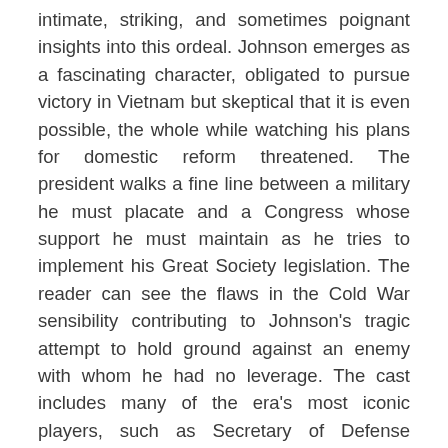intimate, striking, and sometimes poignant insights into this ordeal. Johnson emerges as a fascinating character, obligated to pursue victory in Vietnam but skeptical that it is even possible, the whole while watching his plans for domestic reform threatened. The president walks a fine line between a military he must placate and a Congress whose support he must maintain as he tries to implement his Great Society legislation. The reader can see the flaws in the Cold War sensibility contributing to Johnson's tragic attempt to hold ground against an enemy with whom he had no leverage. The cast includes many of the era's most iconic players, such as Secretary of Defense Robert McNamara, General Westmoreland ("I have a lot riding on you," LBJ tells him—"I hope you don't pull a MacArthur on me!"), House minority leader Gerald Ford,